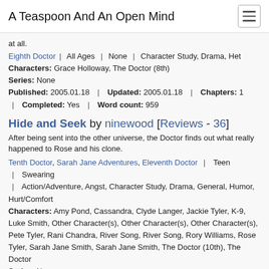A Teaspoon And An Open Mind
at all.
Eighth Doctor | All Ages | None | Character Study, Drama, Het
Characters: Grace Holloway, The Doctor (8th)
Series: None
Published: 2005.01.18 | Updated: 2005.01.18 | Chapters: 1 | Completed: Yes | Word count: 959
Hide and Seek by ninewood [Reviews - 36]
After being sent into the other universe, the Doctor finds out what really happened to Rose and his clone.
Tenth Doctor, Sarah Jane Adventures, Eleventh Doctor | Teen | Swearing | Action/Adventure, Angst, Character Study, Drama, General, Humor, Hurt/Comfort
Characters: Amy Pond, Cassandra, Clyde Langer, Jackie Tyler, K-9, Luke Smith, Other Character(s), Other Character(s), Other Character(s), Pete Tyler, Rani Chandra, River Song, River Song, Rory Williams, Rose Tyler, Sarah Jane Smith, Sarah Jane Smith, The Doctor (10th), The Doctor
Series: None
Published: 2011.05.19 | Updated: 2011.05.28 | Chapters: 9
| Completed: Yes | Word count: 39896